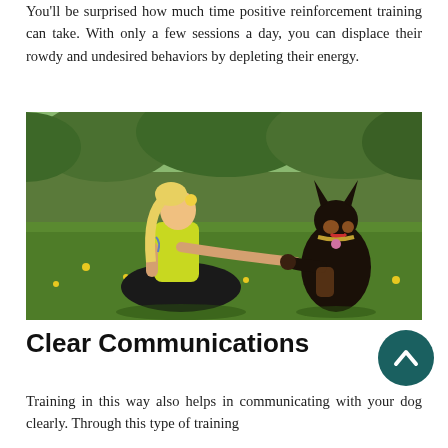You'll be surprised how much time positive reinforcement training can take. With only a few sessions a day, you can displace their rowdy and undesired behaviors by depleting their energy.
[Figure (photo): A blonde woman in a yellow top and black skirt sits on green grass in a park, reaching out her hand toward a Doberman dog who is offering its paw. Yellow flowers are visible in the grass and trees in the background.]
Clear Communications
Training in this way also helps in communicating with your dog clearly. Through this type of training